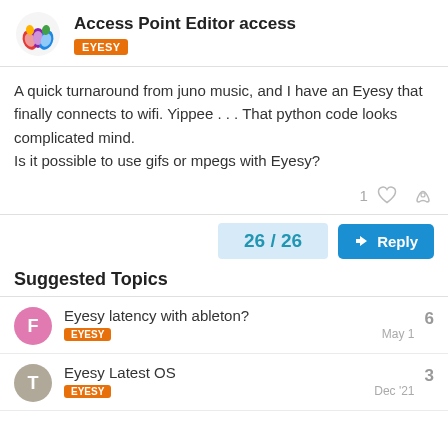Access Point Editor access — EYESY
A quick turnaround from juno music, and I have an Eyesy that finally connects to wifi. Yippee . . . That python code looks complicated mind.
Is it possible to use gifs or mpegs with Eyesy?
1 ♡ 🔗
26 / 26
Reply
Suggested Topics
Eyesy latency with ableton?
EYESY   May 1   6
Eyesy Latest OS
EYESY   Dec '21   3